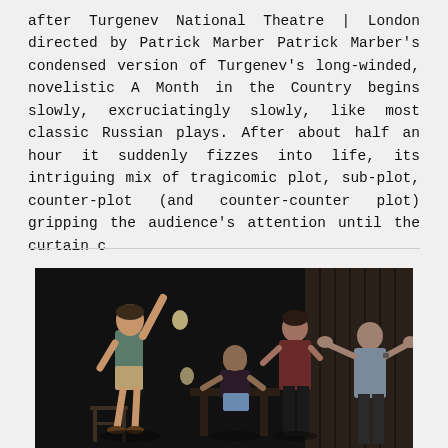after Turgenev National Theatre | London directed by Patrick Marber Patrick Marber's condensed version of Turgenev's long-winded, novelistic A Month in the Country begins slowly, excruciatingly slowly, like most classic Russian plays. After about half an hour it suddenly fizzes into life, its intriguing mix of tragicomic plot, sub-plot, counter-plot (and counter-counter plot) gripping the audience's attention until the curtain c
[Figure (photo): Theatre production photo showing performers on a dark stage. One performer standing elevated on left with arm raised, a central figure crouching over a table, a performer in dark red top center, and a performer on right with arms outstretched. Dark wooden set elements visible.]